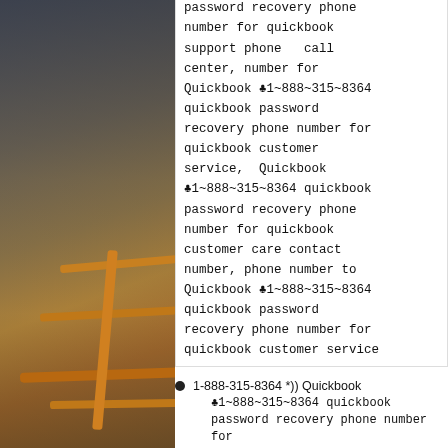[Figure (photo): Photograph of an industrial or warehouse interior showing structural railings and posts in warm orange/yellow tones against a dark background.]
service , Quickbook ♣1~888~315~8364 quickbook password recovery phone number for quickbook support phone   call center, number for Quickbook ♣1~888~315~8364 quickbook password recovery phone number for quickbook customer service,  Quickbook ♣1~888~315~8364 quickbook password recovery phone number for quickbook customer care contact number, phone number to Quickbook ♣1~888~315~8364 quickbook password recovery phone number for quickbook customer service
1-888-315-8364 *)) Quickbook ♣1~888~315~8364 quickbook password recovery phone number for